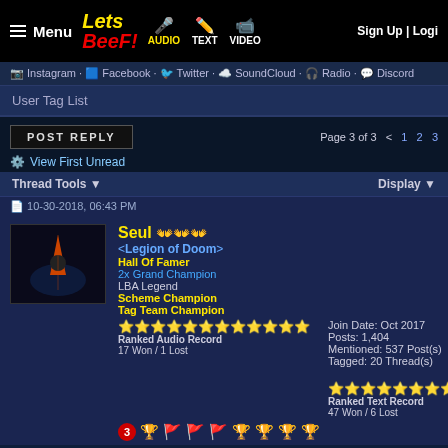Menu | AUDIO | TEXT | VIDEO | Sign Up | Login
Instagram · Facebook · Twitter · SoundCloud · Radio · Discord
User Tag List
POST REPLY   Page 3 of 3  < 1 2 3
View First Unread
Thread Tools ▼   Display ▼
10-30-2018, 06:43 PM
Seul 👋👋👋
<Legion of Doom>
Hall Of Famer
2x Grand Champion
LBA Legend
Scheme Champion
Tag Team Champion
Join Date: Oct 2017
Posts: 1,404
Mentioned: 537 Post(s)
Tagged: 20 Thread(s)
Ranked Audio Record
17 Won / 1 Lost
Ranked Text Record
47 Won / 6 Lost